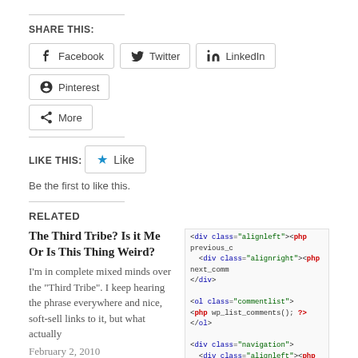SHARE THIS:
Facebook
Twitter
LinkedIn
Pinterest
More
LIKE THIS:
Like
Be the first to like this.
RELATED
The Third Tribe? Is it Me Or Is This Thing Weird?
I'm in complete mixed minds over the "Third Tribe". I keep hearing the phrase everywhere and nice, soft-sell links to it, but what actually
February 2, 2010
In "News"
[Figure (screenshot): Code snippet showing PHP/HTML for blog comment navigation with div class alignleft/alignright and ol class commentlist]
Blog Comment Tools For The Talkative Blogger
March 4, 2010
In "Blogging Systems"